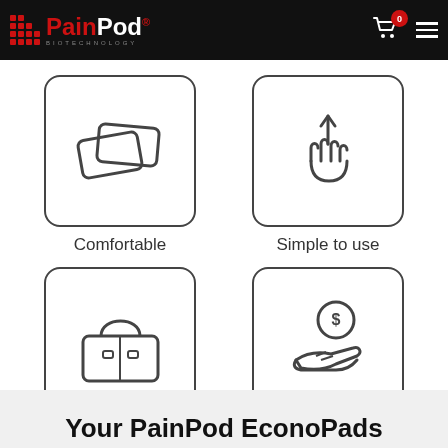[Figure (logo): PainPod Biotechnology logo on black header bar with shopping cart and hamburger menu]
[Figure (illustration): Four icons in a 2x2 grid: comfortable (pads/pillows icon), simple to use (hand gesture icon), portable (handbag icon), savings (hand holding coin icon)]
Comfortable
Simple to use
Portable
Savings
Your PainPod EconoPads